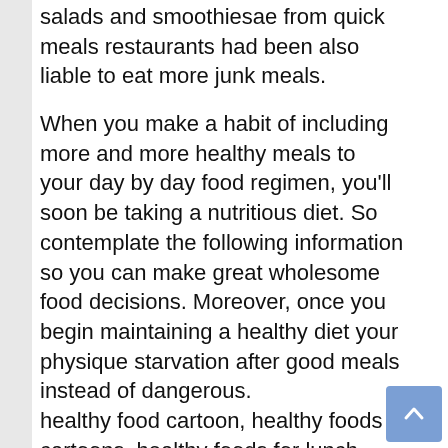salads and smoothiesae from quick meals restaurants had been also liable to eat more junk meals.
When you make a habit of including more and more healthy meals to your day by day food regimen, you'll soon be taking a nutritious diet. So contemplate the following information so you can make great wholesome food decisions. Moreover, once you begin maintaining a healthy diet your physique starvation after good meals instead of dangerous.
healthy food cartoon, healthy foods cartoons, healthy foods for lunch, healthy foods and drinks, healthy food and drinks on the go
One limitation of the examine was that participants completed a food questionnaire